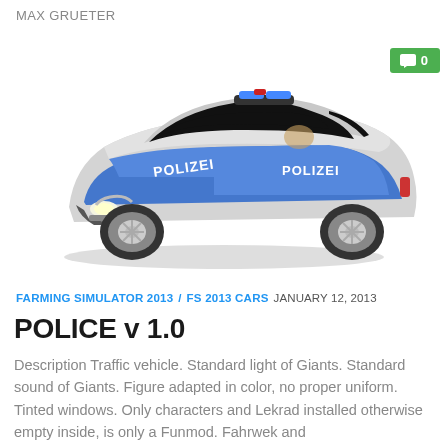MAX GRUETER
[Figure (photo): 3D render of a German police car (Polizei) — a VW Scirocco-style hatchback with blue and silver livery, 'POLIZEI' text on hood and door, blue light bar on roof, white wheels.]
FARMING SIMULATOR 2013 / FS 2013 CARS  JANUARY 12, 2013
POLICE v 1.0
Description Traffic vehicle. Standard light of Giants. Standard sound of Giants. Figure adapted in color, no proper uniform. Tinted windows. Only characters and Lekrad installed otherwise empty inside, is only a Funmod. Fahrwek and